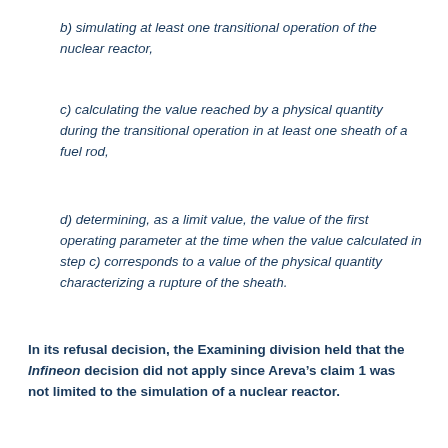b) simulating at least one transitional operation of the nuclear reactor,
c) calculating the value reached by a physical quantity during the transitional operation in at least one sheath of a fuel rod,
d) determining, as a limit value, the value of the first operating parameter at the time when the value calculated in step c) corresponds to a value of the physical quantity characterizing a rupture of the sheath.
In its refusal decision, the Examining division held that the Infineon decision did not apply since Areva’s claim 1 was not limited to the simulation of a nuclear reactor.